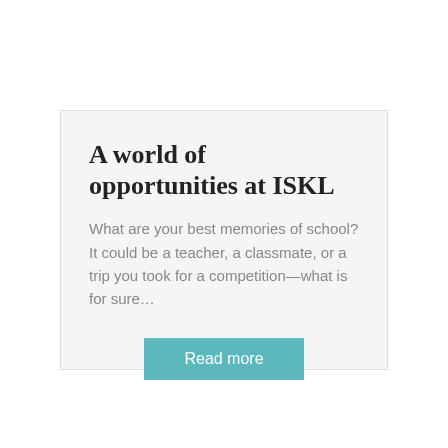A world of opportunities at ISKL
What are your best memories of school? It could be a teacher, a classmate, or a trip you took for a competition—what is for sure…
Read more